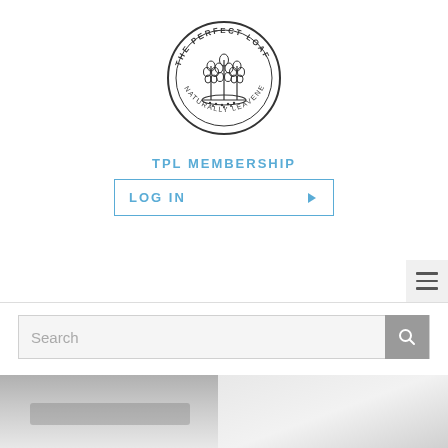[Figure (logo): The Perfect Loaf naturally leavened circular logo with wheat sheaf illustration]
TPL MEMBERSHIP
[Figure (screenshot): LOG IN button with blue border and right-pointing arrow]
[Figure (screenshot): Hamburger menu icon on light grey background]
[Figure (screenshot): Search bar with magnifying glass icon on grey background]
[Figure (photo): Close-up photo of white kitchen appliance interior, possibly a refrigerator or oven]